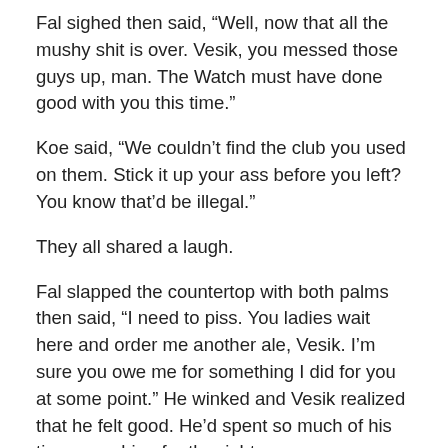Fal sighed then said, “Well, now that all the mushy shit is over. Vesik, you messed those guys up, man. The Watch must have done good with you this time.”
Koe said, “We couldn’t find the club you used on them. Stick it up your ass before you left? You know that’d be illegal.”
They all shared a laugh.
Fal slapped the countertop with both palms then said, “I need to piss. You ladies wait here and order me another ale, Vesik. I’m sure you owe me for something I did for you at some point.” He winked and Vesik realized that he felt good. He’d spent so much of his time searching for the right woman, obsessing about the power of the monolith and